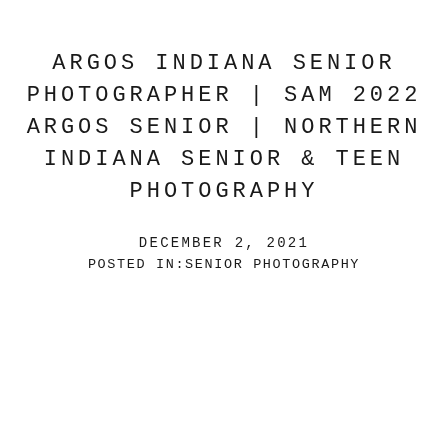ARGOS INDIANA SENIOR PHOTOGRAPHER | SAM 2022 ARGOS SENIOR | NORTHERN INDIANA SENIOR & TEEN PHOTOGRAPHY
DECEMBER 2, 2021
POSTED IN:SENIOR PHOTOGRAPHY